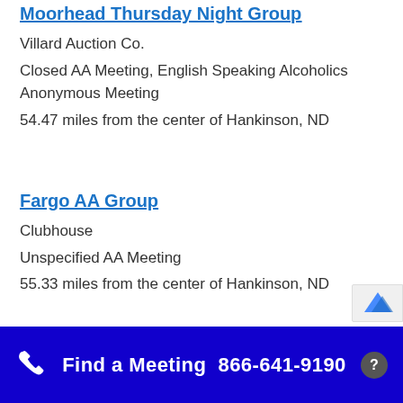Moorhead Thursday Night Group
Villard Auction Co.
Closed AA Meeting, English Speaking Alcoholics Anonymous Meeting
54.47 miles from the center of Hankinson, ND
Fargo AA Group
Clubhouse
Unspecified AA Meeting
55.33 miles from the center of Hankinson, ND
Find a Meeting  866-641-9190